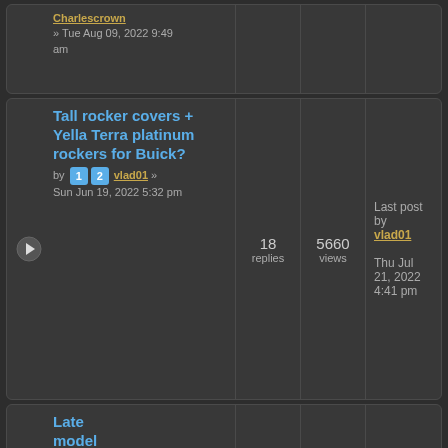Charlescrown » Tue Aug 09, 2022 9:49 am — partial row top
Tall rocker covers + Yella Terra platinum rockers for Buick? by 1 2 vlad01 » Sun Jun 19, 2022 5:32 pm | 18 replies | 5660 views | Last post by vlad01 Thu Jul 21, 2022 4:41 pm
Late model — partial row bottom